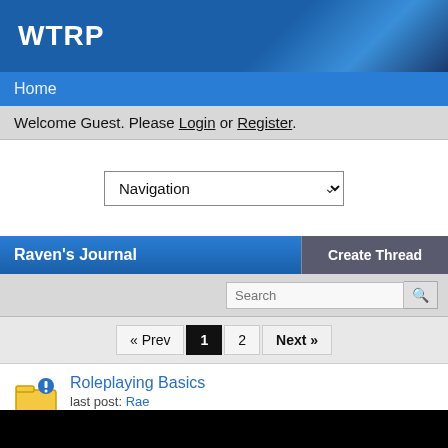WTRP
Home
Welcome Guest. Please Login or Register.
[Figure (screenshot): Navigation dropdown selector]
Raven's Journal
Create Thread
Search
« Prev 1 2 Next »
Roleplaying Basics
last post: Rae
Mar 6, 2011 at 7:22am
Q and A with my muses